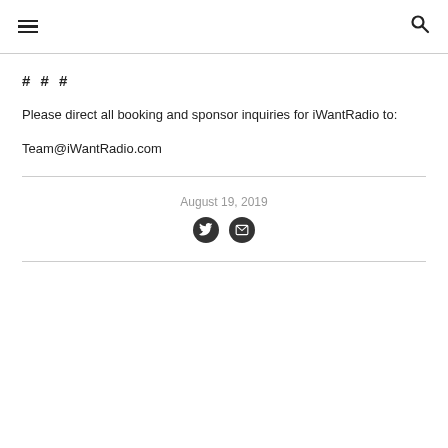≡ [hamburger menu] | [search icon]
# # #
Please direct all booking and sponsor inquiries for iWantRadio to:
Team@iWantRadio.com
August 19, 2019
[Figure (illustration): Twitter bird icon and envelope/email icon, dark filled circles]